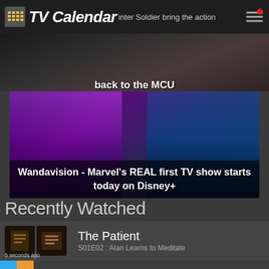TV Calendar
[Figure (screenshot): Top banner showing partial text about Winter Soldier bringing the action back to the MCU]
[Figure (photo): Featured image for WandaVision - Marvel show promotional art showing two characters with colorful background]
Wandavision - Marvel's REAL first TV show starts today on Disney+
Recently Watched
The Patient — S01E02 : Alan Learns to Meditate — 5 seconds ago
Queer as Folk